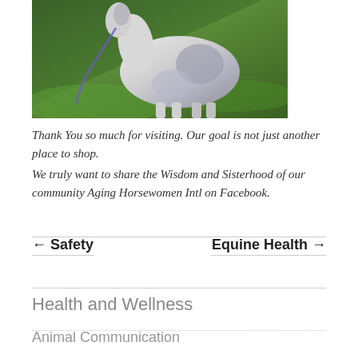[Figure (photo): A horse with a white and grey spotted coat, being held by a lead rope in a green outdoor setting.]
Thank You so much for visiting. Our goal is not just another place to shop.
We truly want to share the Wisdom and Sisterhood of our community Aging Horsewomen Intl on Facebook.
← Safety
Equine Health →
Health and Wellness
Animal Communication